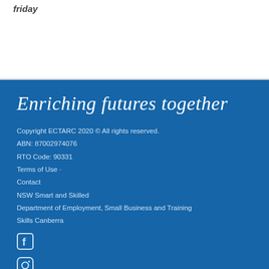friday
Enriching futures together
Copyright ECTARC 2020 © All rights reserved.
ABN: 87002974076
RTO Code: 90331
Terms of Use ·
Contact
NSW Smart and Skilled
Department of Employment, Small Business and Training
Skills Canberra
[Figure (logo): Facebook icon (white on blue)]
[Figure (logo): Instagram icon (white on blue)]
[Figure (logo): Facebook icon (white on blue)]